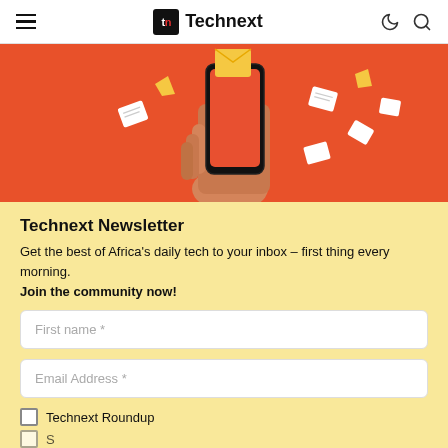Technext
[Figure (illustration): Hand holding a smartphone with flying message/email envelopes on an orange-red background]
Technext Newsletter
Get the best of Africa's daily tech to your inbox – first thing every morning. Join the community now!
First name *
Email Address *
Technext Roundup
Sunday Roundup (partially visible)